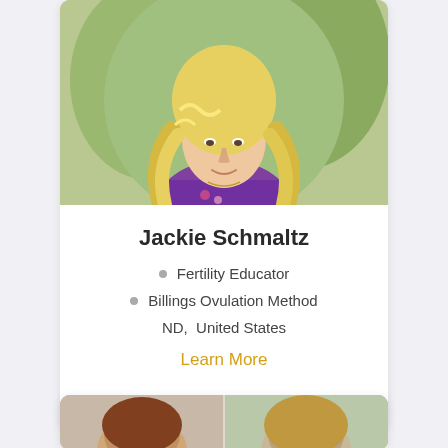[Figure (photo): Profile photo of Jackie Schmaltz, a woman with long blonde wavy hair wearing a purple floral top, photographed outdoors with green foliage background]
Jackie Schmaltz
Fertility Educator
Billings Ovulation Method
ND,  United States
Learn More
[Figure (photo): Partial view of the top of a second profile card showing two person photos side by side]